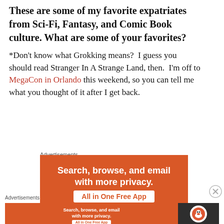These are some of my favorite expatriates from Sci-Fi, Fantasy, and Comic Book culture. What are some of your favorites?
*Don't know what Grokking means?  I guess you should read Stranger In A Strange Land, then.  I'm off to MegaCon in Orlando this weekend, so you can tell me what you thought of it after I get back.
Advertisements
[Figure (infographic): DuckDuckGo advertisement banner (orange background): 'Search, browse, and email with more privacy. All in One Free App']
Advertisements
[Figure (infographic): DuckDuckGo advertisement banner (small, bottom): 'Search, browse, and email with more privacy. All in One Free App' with DuckDuckGo logo on dark right panel]